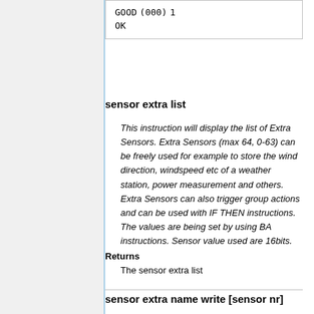| GOOD | (000) | 1 |
| OK |  |  |
sensor extra list
This instruction will display the list of Extra Sensors. Extra Sensors (max 64, 0-63) can be freely used for example to store the wind direction, windspeed etc of a weather station, power measurement and others. Extra Sensors can also trigger group actions and can be used with IF THEN instructions. The values are being set by using BA instructions. Sensor value used are 16bits.
Returns
The sensor extra list
sensor extra name write [sensor nr]